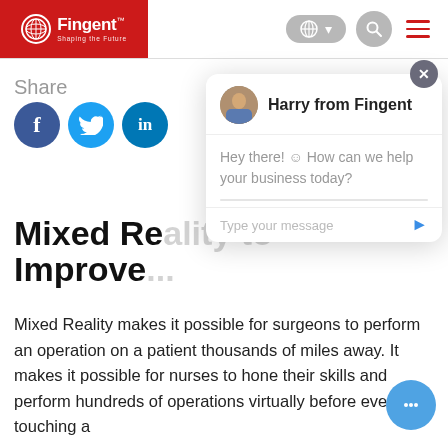Fingent - Shaping the Future
Share
[Figure (screenshot): Chat popup with Harry from Fingent: 'Hey there! How can we help your business today?']
Mixed Re... Improve...
Mixed Reality makes it possible for surgeons to perform an operation on a patient thousands of miles away. It makes it possible for nurses to hone their skills and perform hundreds of operations virtually before even touching a